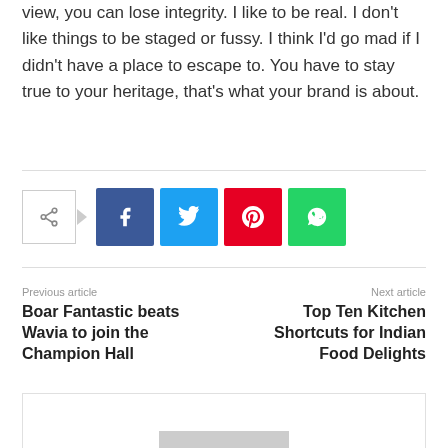view, you can lose integrity. I like to be real. I don't like things to be staged or fussy. I think I'd go mad if I didn't have a place to escape to. You have to stay true to your heritage, that's what your brand is about.
[Figure (infographic): Social share buttons row: share icon box with arrow, followed by Facebook (blue), Twitter (cyan), Pinterest (red), WhatsApp (green) buttons]
Previous article
Boar Fantastic beats Wavia to join the Champion Hall
Next article
Top Ten Kitchen Shortcuts for Indian Food Delights
[Figure (other): Empty white box with a grey rectangle near the bottom center]